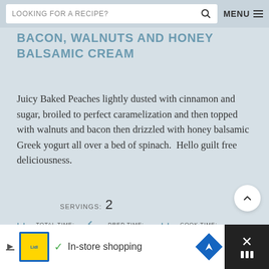LOOKING FOR A RECIPE?  MENU
BACON, WALNUTS AND HONEY BALSAMIC CREAM
Juicy Baked Peaches lightly dusted with cinnamon and sugar, broiled to perfect caramelization and then topped with walnuts and bacon then drizzled with honey balsamic Greek yogurt all over a bed of spinach.  Hello guilt free deliciousness.
SERVINGS: 2
TOTAL TIME: 22 MINS  PREP TIME: 10 MINS  COOK TIME: 12 MINS
[Figure (screenshot): Advertisement bar at bottom: Lidl logo, checkmark, In-store shopping text, navigation icon, close button]